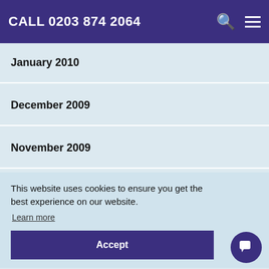CALL 0203 874 2064
January 2010
December 2009
November 2009
This website uses cookies to ensure you get the best experience on our website. Learn more
Accept
April 2008